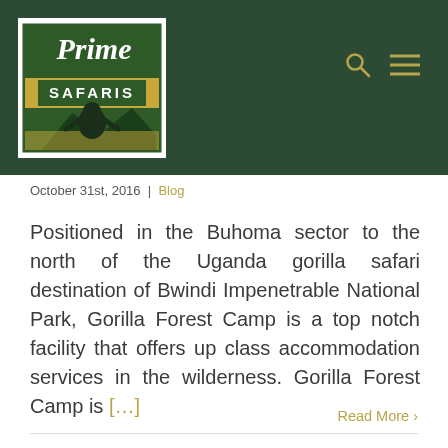[Figure (logo): Prime Safaris logo: green and yellow logo with a gorilla silhouette and mountain landscape, text reads 'Prime SAFARIS']
October 31st, 2016 | Blog
Positioned in the Buhoma sector to the north of the Uganda gorilla safari destination of Bwindi Impenetrable National Park, Gorilla Forest Camp is a top notch facility that offers up class accommodation services in the wilderness. Gorilla Forest Camp is [...]
Read More >